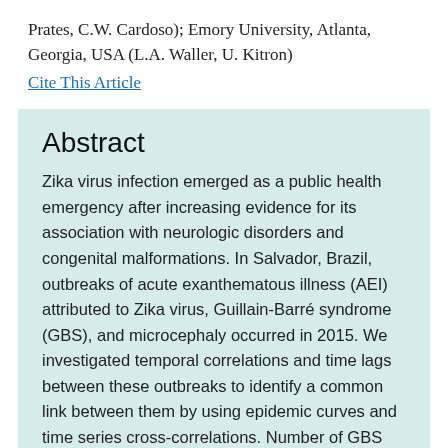Prates, C.W. Cardoso); Emory University, Atlanta, Georgia, USA (L.A. Waller, U. Kitron)
Cite This Article
Abstract
Zika virus infection emerged as a public health emergency after increasing evidence for its association with neurologic disorders and congenital malformations. In Salvador, Brazil, outbreaks of acute exanthematous illness (AEI) attributed to Zika virus, Guillain-Barré syndrome (GBS), and microcephaly occurred in 2015. We investigated temporal correlations and time lags between these outbreaks to identify a common link between them by using epidemic curves and time series cross-correlations. Number of GBS cases peaked after a lag of 5–9 weeks from the